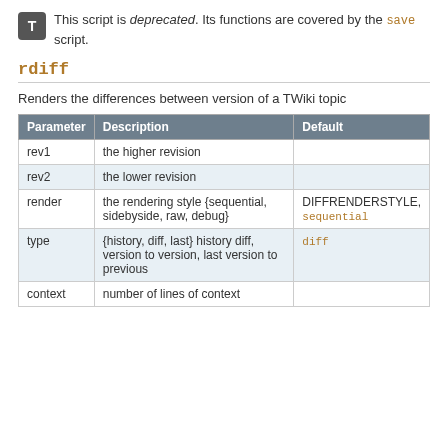This script is deprecated. Its functions are covered by the save script.
rdiff
Renders the differences between version of a TWiki topic
| Parameter | Description | Default |
| --- | --- | --- |
| rev1 | the higher revision |  |
| rev2 | the lower revision |  |
| render | the rendering style {sequential, sidebyside, raw, debug} | DIFFRENDERSTYLE, sequential |
| type | {history, diff, last} history diff, version to version, last version to previous | diff |
| context | number of lines of context |  |